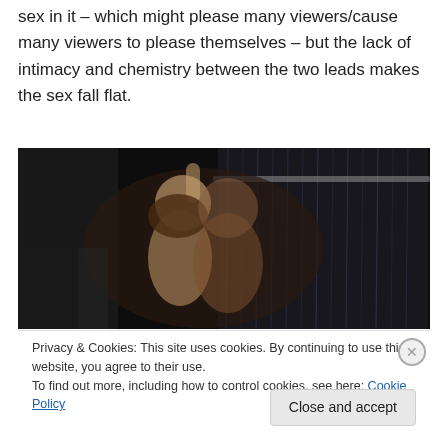sex in it – which might please many viewers/cause many viewers to please themselves – but the lack of intimacy and chemistry between the two leads makes the sex fall flat.
[Figure (photo): A dark cinematic scene of two people kissing under running water/shower, viewed from behind, moody dramatic lighting]
Privacy & Cookies: This site uses cookies. By continuing to use this website, you agree to their use.
To find out more, including how to control cookies, see here: Cookie Policy